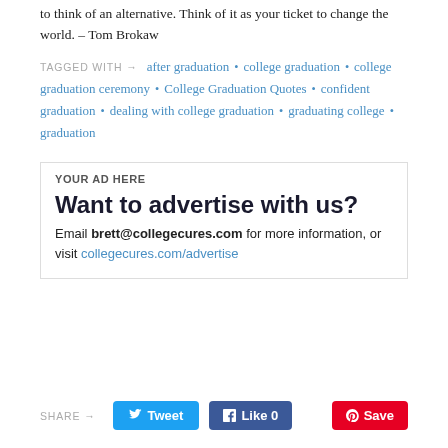to think of an alternative. Think of it as your ticket to change the world. – Tom Brokaw
TAGGED WITH → after graduation • college graduation • college graduation ceremony • College Graduation Quotes • confident graduation • dealing with college graduation • graduating college • graduation
YOUR AD HERE
Want to advertise with us?
Email brett@collegecures.com for more information, or visit collegecures.com/advertise
SHARE → Tweet  Like 0  Save